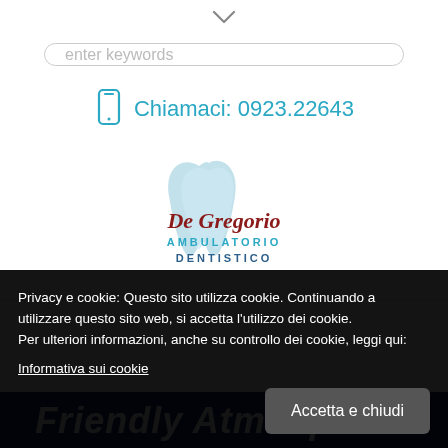[Figure (other): Chevron down arrow icon]
[Figure (other): Search bar with placeholder text 'enter keywords']
Chiamaci: 0923.22643
[Figure (logo): De Gregorio Ambulatorio Dentistico logo with tooth icon]
Privacy e cookie: Questo sito utilizza cookie. Continuando a utilizzare questo sito web, si accetta l'utilizzo dei cookie. Per ulteriori informazioni, anche su controllo dei cookie, leggi qui: Informativa sui cookie
Accetta e chiudi
Friendly Atmosphere